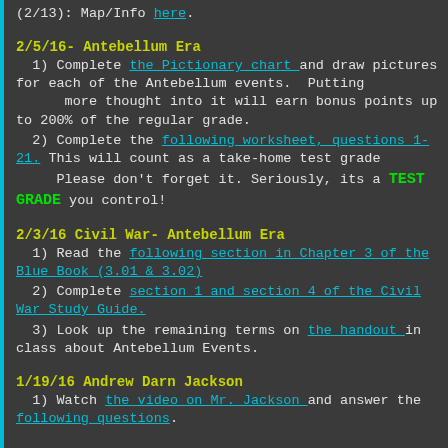(2/13): Map/Info here.
2/5/16- Antebellum Era
1) Complete the Pictionary chart and draw pictures for each of the Antebellum events.  Putting more thought into it will earn bonus points up to 200% of the regular grade.
2) Complete the following worksheet, questions 1-21. This will count as a take-home test grade
Please don't forget it. Seriously, its a TEST GRADE you control!
2/3/16 Civil War- Antebellum Era
1) Read the following section in Chapter 3 of the Blue Book (3.01 & 3.02)
2) Complete section 1 and section 4 of the  Civil War Study Guide.
3) Look up the remaining terms on the handout in class about Antebellum Events.
1/19/16 Andrew Darn Jackson
1) Watch the video on Mr. Jackson and answer the following questions.